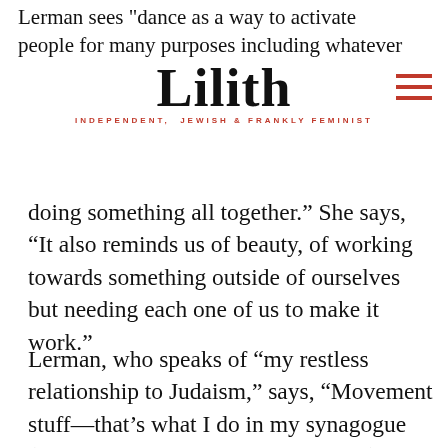Lerman sees dance as a way to activate people for many purposes including whatever
Lilith
INDEPENDENT, JEWISH & FRANKLY FEMINIST
doing something all together.” She says, “It also reminds us of beauty, of working towards something outside of ourselves but needing each one of us to make it work.”
Lerman, who speaks of “my restless relationship to Judaism,” says, “Movement stuff—that’s what I do in my synagogue (Temple Micah in Washington, D.C.). It’s been my lab for doing participatory creative actions for 20 years. What’s beautiful in that setting is that the action can be individual and